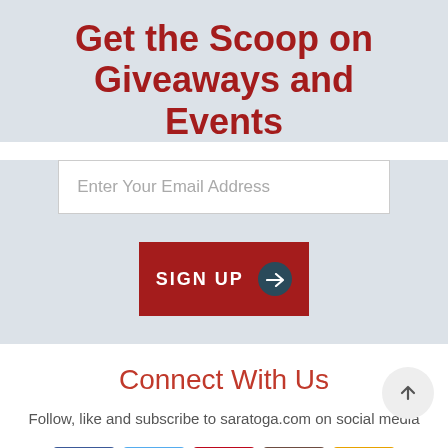Get the Scoop on Giveaways and Events
[Figure (screenshot): Email input field with placeholder text 'Enter Your Email Address']
[Figure (screenshot): Red SIGN UP button with dark teal arrow circle]
Connect With Us
Follow, like and subscribe to saratoga.com on social media
[Figure (illustration): Row of five social media icons: Facebook (blue), Twitter (light blue), Pinterest (red), Instagram (brown), Calendar (yellow/orange)]